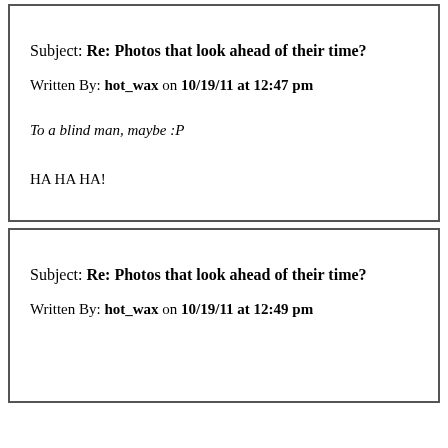Subject: Re: Photos that look ahead of their time?
Written By: hot_wax on 10/19/11 at 12:47 pm
To a blind man, maybe :P
HA HA HA!
Subject: Re: Photos that look ahead of their time?
Written By: hot_wax on 10/19/11 at 12:49 pm